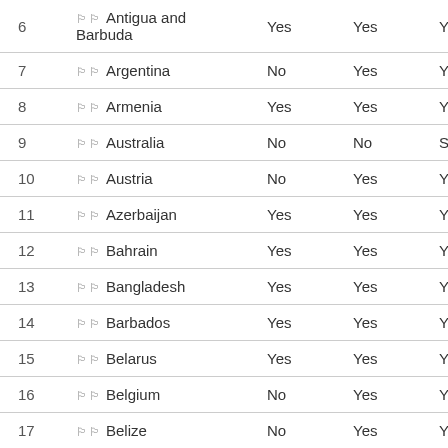| # | Country | Col1 | Col2 | Col3 |
| --- | --- | --- | --- | --- |
| 6 | 🏳 Antigua and Barbuda | Yes | Yes | Yes |
| 7 | 🏳 Argentina | No | Yes | Yes |
| 8 | 🏳 Armenia | Yes | Yes | Yes |
| 9 | 🏳 Australia | No | No | Self |
| 10 | 🏳 Austria | No | Yes | Yes |
| 11 | 🏳 Azerbaijan | Yes | Yes | Yes |
| 12 | 🏳 Bahrain | Yes | Yes | Yes |
| 13 | 🏳 Bangladesh | Yes | Yes | Yes |
| 14 | 🏳 Barbados | Yes | Yes | Yes |
| 15 | 🏳 Belarus | Yes | Yes | Yes |
| 16 | 🏳 Belgium | No | Yes | Yes |
| 17 | 🏳 Belize | No | Yes | Yes |
| 18 | 🏳 Benin | No | No | No |
| 19 | 🏳 Bhutan | No | No | No |